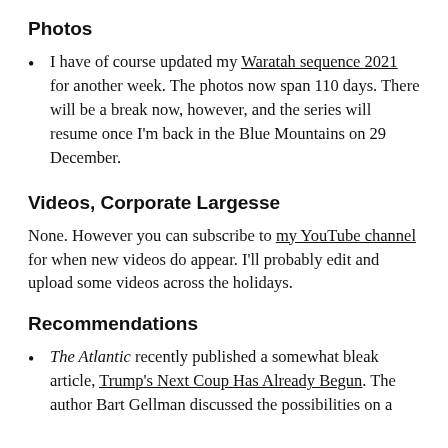Photos
I have of course updated my Waratah sequence 2021 for another week. The photos now span 110 days. There will be a break now, however, and the series will resume once I'm back in the Blue Mountains on 29 December.
Videos, Corporate Largesse
None. However you can subscribe to my YouTube channel for when new videos do appear. I'll probably edit and upload some videos across the holidays.
Recommendations
The Atlantic recently published a somewhat bleak article, Trump's Next Coup Has Already Begun. The author Bart Gellman discussed the possibilities on a